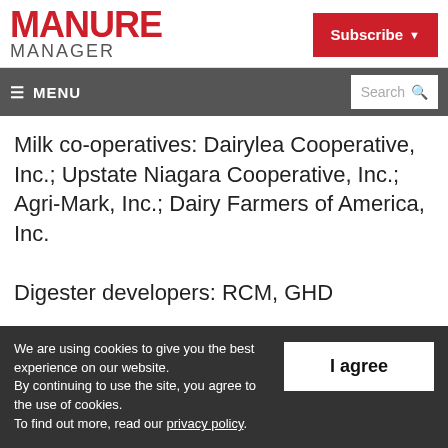MANURE MANAGER | Subscribe
☰ MENU | Search
Milk co-operatives: Dairylea Cooperative, Inc.; Upstate Niagara Cooperative, Inc.; Agri-Mark, Inc.; Dairy Farmers of America, Inc.
Digester developers: RCM, GHD
We are using cookies to give you the best experience on our website.
By continuing to use the site, you agree to the use of cookies.
To find out more, read our privacy policy.